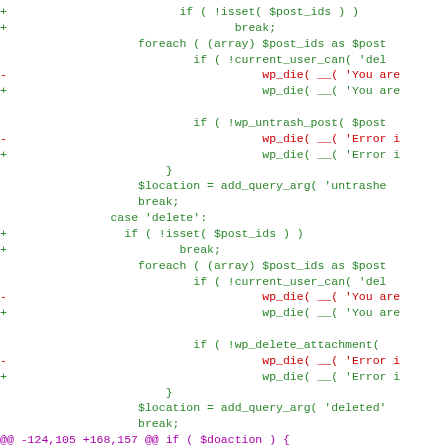[Figure (screenshot): A code diff screenshot showing PHP WordPress code with green added lines (+), red removed lines (-), and magenta diff hunk headers (@@). The code shows untrash and delete post logic with wp_die calls and location redirects.]